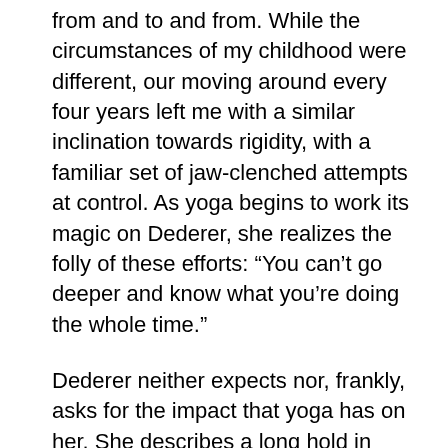from and to and from. While the circumstances of my childhood were different, our moving around every four years left me with a similar inclination towards rigidity, with a familiar set of jaw-clenched attempts at control. As yoga begins to work its magic on Dederer, she realizes the folly of these efforts: “You can’t go deeper and know what you’re doing the whole time.”
Dederer neither expects nor, frankly, asks for the impact that yoga has on her. She describes a long hold in cobbler’s pose where “something was pushing up from below the surface. Before I knew it, I was crying. Tears were streaming silently down my face. I was losing my shit.” I gasped when I read the expression “pushing up from below the surface.” I had an experience that reminds me of this scene, though mine was in pigeon. I was in